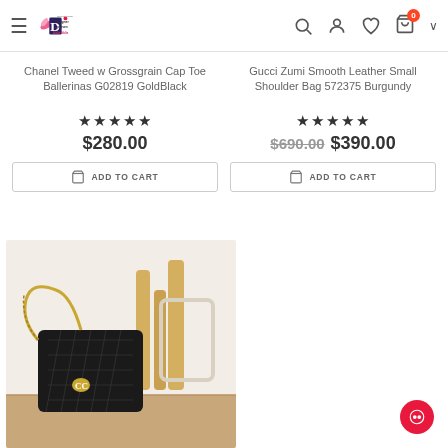Designer Purses - genuine leather - Malia Malia
Chanel Tweed w Grossgrain Cap Toe Ballerinas G02819 GoldBlack
★★★★★ $280.00
ADD TO CART
Gucci Zumi Smooth Leather Small Shoulder Bag 572375 Burgundy
★★★★★ $690.00 $390.00
ADD TO CART
[Figure (photo): Black quilted Chanel bag with gold chain strap displayed against decorative gold candlesticks and white ornate frame on wooden surface]